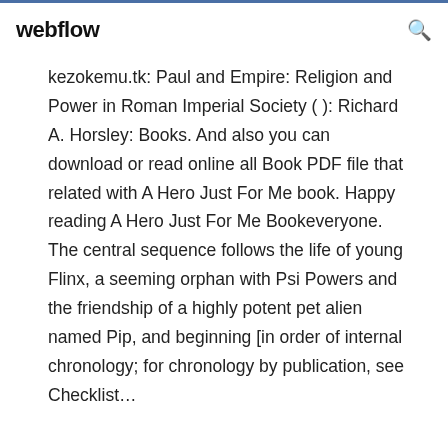webflow
kezokemu.tk: Paul and Empire: Religion and Power in Roman Imperial Society ( ): Richard A. Horsley: Books. And also you can download or read online all Book PDF file that related with A Hero Just For Me book. Happy reading A Hero Just For Me Bookeveryone. The central sequence follows the life of young Flinx, a seeming orphan with Psi Powers and the friendship of a highly potent pet alien named Pip, and beginning [in order of internal chronology; for chronology by publication, see Checklist...